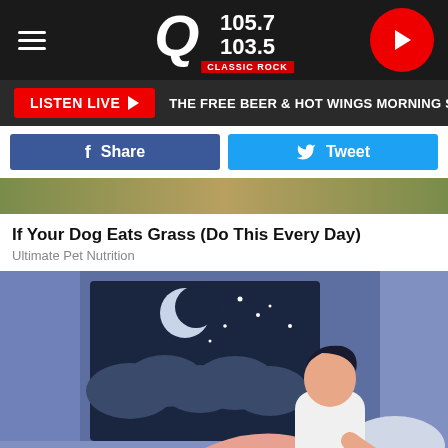Q 105.7 / 103.5 Classic Rock
LISTEN LIVE ▶  THE FREE BEER & HOT WINGS MORNING SHOW
f  Share    Tweet
[Figure (photo): Advertisement image with golden-brown background]
If Your Dog Eats Grass (Do This Every Day)
Ultimate Pet Nutrition
[Figure (illustration): Illustration of a man sitting on a bed at night, unable to sleep, with a window showing a crescent moon and stars in the dark sky background]